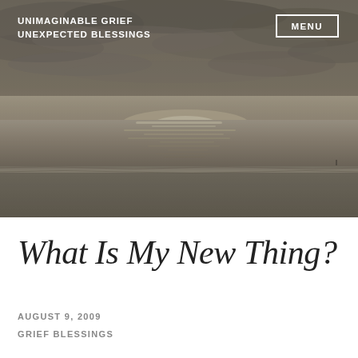[Figure (photo): Black and white / desaturated photo of a beach at sunset or dusk, with calm ocean water reflecting light on the horizon, cloudy sky above, and a wide sandy shore in the foreground.]
UNIMAGINABLE GRIEF UNEXPECTED BLESSINGS
MENU
What Is My New Thing?
AUGUST 9, 2009
GRIEF BLESSINGS